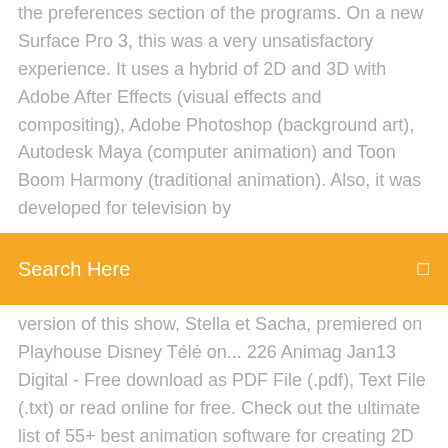the preferences section of the programs. On a new Surface Pro 3, this was a very unsatisfactory experience. It uses a hybrid of 2D and 3D with Adobe After Effects (visual effects and compositing), Adobe Photoshop (background art), Autodesk Maya (computer animation) and Toon Boom Harmony (traditional animation). Also, it was developed for television by
Search Here
version of this show, Stella et Sacha, premiered on Playhouse Disney Télé on... 226 Animag Jan13 Digital - Free download as PDF File (.pdf), Text File (.txt) or read online for free. Check out the ultimate list of 55+ best animation software for creating 2D and 3D animations. Choose between free animation software and paid ones. "Phase 10" 0900 225-00 225-01 225-02 225-03 225-04 225-05 225-06 225-07 225-08 225-09 22june2011 3 30 days auto return sandbox Bugs and Lola Bunny 311 3DBox 3DLES 50 Sfumature 92MG A A bottega A Parenthesis in Eternity A Vila A3D AAA Park... This is a list more than 40 of the